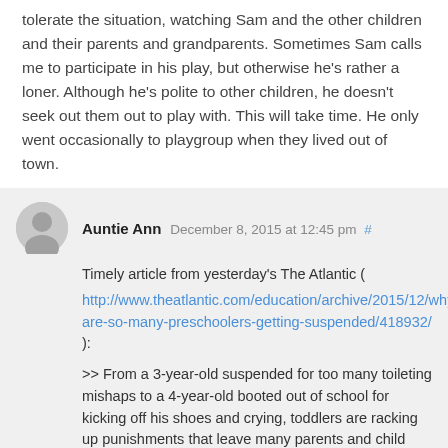tolerate the situation, watching Sam and the other children and their parents and grandparents. Sometimes Sam calls me to participate in his play, but otherwise he's rather a loner. Although he's polite to other children, he doesn't seek out them out to play with. This will take time. He only went occasionally to playgroup when they lived out of town.
Auntie Ann December 8, 2015 at 12:45 pm # Timely article from yesterday's The Atlantic ( http://www.theatlantic.com/education/archive/2015/12/why-are-so-many-preschoolers-getting-suspended/418932/ ): >> From a 3-year-old suspended for too many toileting mishaps to a 4-year-old booted out of school for kicking off his shoes and crying, toddlers are racking up punishments that leave many parents and child experts bewildered. >> [...] But for some more astounding than these discipline statistics were the thousands of the nation’s youngest